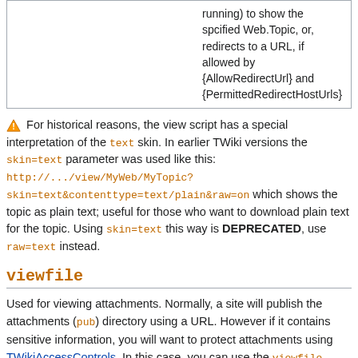| running) to show the spcified Web.Topic, or, redirects to a URL, if allowed by {AllowRedirectUrl} and {PermittedRedirectHostUrls} |
⚠ For historical reasons, the view script has a special interpretation of the text skin. In earlier TWiki versions the skin=text parameter was used like this: http://.../view/MyWeb/MyTopic?skin=text&contenttype=text/plain&raw=on which shows the topic as plain text; useful for those who want to download plain text for the topic. Using skin=text this way is DEPRECATED, use raw=text instead.
viewfile
Used for viewing attachments. Normally, a site will publish the attachments (pub) directory using a URL. However if it contains sensitive information, you will want to protect attachments using TWikiAccessControls. In this case, you can use the viewfile script to give access to attachments while still checking access controls.